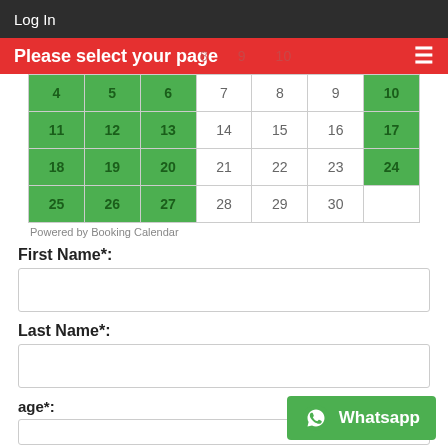Log In
Please select your page
| 4 | 5 | 6 | 7 | 8 | 9 | 10 |
| 11 | 12 | 13 | 14 | 15 | 16 | 17 |
| 18 | 19 | 20 | 21 | 22 | 23 | 24 |
| 25 | 26 | 27 | 28 | 29 | 30 |  |
Powered by Booking Calendar
First Name*:
Last Name*:
age*:
[Figure (other): Whatsapp button]